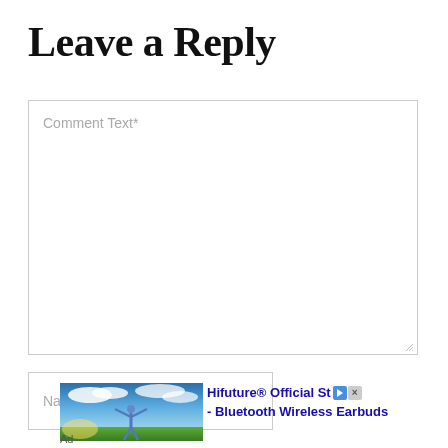Leave a Reply
Comment Text*
Name*
[Figure (screenshot): A web comment form with a large textarea labeled 'Comment Text*' and a name input field labeled 'Name*', followed by an advertisement for Hifuture Bluetooth Wireless Earbuds showing a person with arms outstretched under a blue sky.]
Hifuture® Official Sto - Bluetooth Wireless Earbuds
Ad